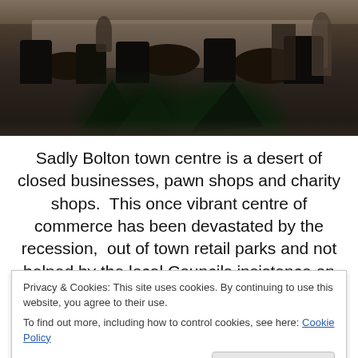[Figure (photo): Interior of a cafe or restaurant with dark wicker chairs and round tables, people seated, large tropical plants in the foreground, open modern space]
Sadly Bolton town centre is a desert of closed businesses, pawn shops and charity shops.  This once vibrant centre of commerce has been devastated by the recession,  out of town retail parks and not helped by the local Councils insistence on contracting out the parking concessions to
Privacy & Cookies: This site uses cookies. By continuing to use this website, you agree to their use.
To find out more, including how to control cookies, see here: Cookie Policy
Close and accept